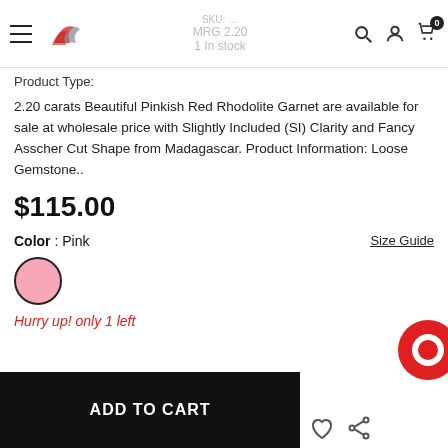SKU: [partial] | MRG 2.20 | Availability: 1 In stock
Product Type:
2.20 carats Beautiful Pinkish Red Rhodolite Garnet are available for sale at wholesale price with Slightly Included (SI) Clarity and Fancy Asscher Cut Shape from Madagascar. Product Information: Loose Gemstone..
$115.00
Color : Pink
[Figure (illustration): Pink color swatch circle with black border]
Size Guide
Hurry up! only 1 left
[Figure (illustration): Red chat bubble icon (bottom right)]
ADD TO CART